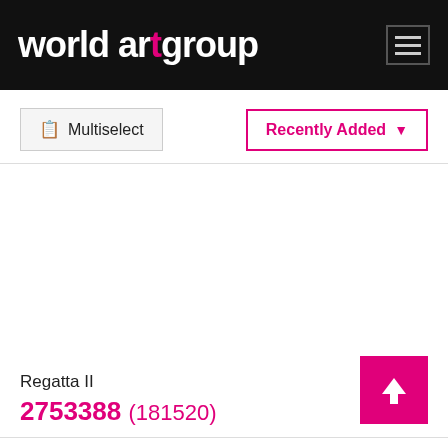world art group
Multiselect
Recently Added
Regatta II
2753388 (181520)
[Figure (screenshot): Empty product image placeholder area (white space for art product)]
[Figure (other): Back to top button - pink/magenta square with white upward arrow]